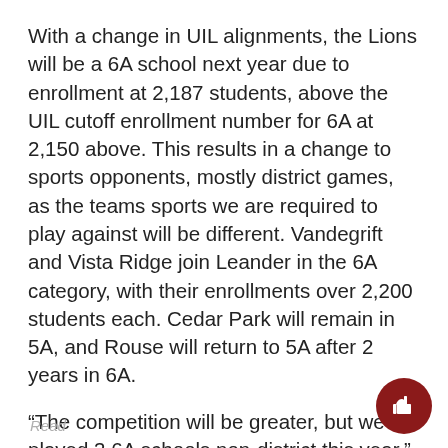With a change in UIL alignments, the Lions will be a 6A school next year due to enrollment at 2,187 students, above the UIL cutoff enrollment number for 6A at 2,150 above. This results in a change to sports opponents, mostly district games, as the teams sports we are required to play against will be different. Vandegrift and Vista Ridge join Leander in the 6A category, with their enrollments over 2,200 students each. Cedar Park will remain in 5A, and Rouse will return to 5A after 2 years in 6A.
“The competition will be greater, but we played 3 6A schools non-district this year,” Athletic Coordinator Tim Smith said. “We were very competitive in each of those games on the varsity and sub varsity levels. As far as our other programs. We have excellent coaches on staff and will do an excellent job preparing their programs for any competition. Most of our programs